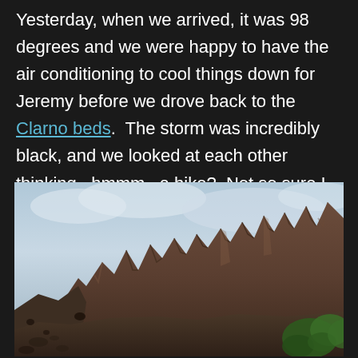Yesterday, when we arrived, it was 98 degrees and we were happy to have the air conditioning to cool things down for Jeremy before we drove back to the Clarno beds.  The storm was incredibly black, and we looked at each other thinking...hmmm...a hike?  Not so sure I want to hike in a thunderstorm, but we decided to give it a try anyway.
[Figure (photo): Photograph looking up at dramatic jagged rock spires and cliffs of the Clarno geological formation, with an overcast cloudy sky behind. Rocky terrain and some green vegetation in the lower right foreground.]